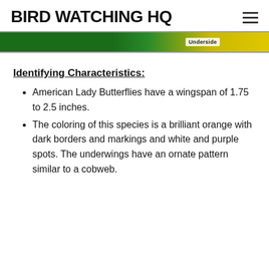BIRD WATCHING HQ
[Figure (photo): Partial image of a butterfly with green and yellow coloring, with an 'Underside' label visible]
Identifying Characteristics:
American Lady Butterflies have a wingspan of 1.75 to 2.5 inches.
The coloring of this species is a brilliant orange with dark borders and markings and white and purple spots. The underwings have an ornate pattern similar to a cobweb.